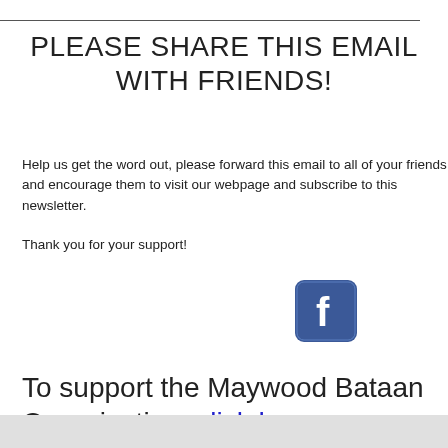PLEASE SHARE THIS EMAIL WITH FRIENDS!
Help us get the word out, please forward this email to all of your friends and encourage them to visit our webpage and subscribe to this newsletter.
Thank you for your support!
[Figure (logo): Facebook logo icon — blue rounded square with white lowercase f]
To support the Maywood Bataan Organization, click here.